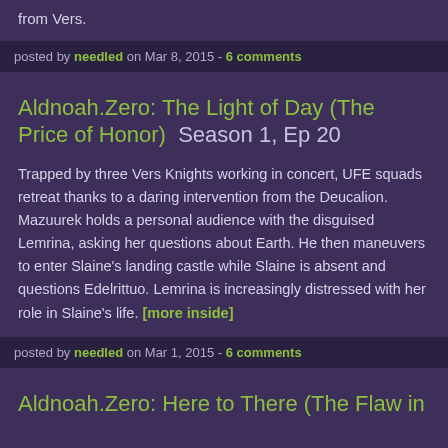from Vers.
posted by needled on Mar 8, 2015 - 6 comments
Aldnoah.Zero: The Light of Day (The Price of Honor)  Season 1, Ep 20
Trapped by three Vers Knights working in concert, UFE squads retreat thanks to a daring intervention from the Deucalion. Mazuurek holds a personal audience with the disguised Lemrina, asking her questions about Earth. He then maneuvers to enter Slaine's landing castle while Slaine is absent and questions Edelrittuo. Lemrina is increasingly distressed with her role in Slaine's life. [more inside]
posted by needled on Mar 1, 2015 - 6 comments
Aldnoah.Zero: Here to There (The Flaw in Peace)  Season 1, Ep 20